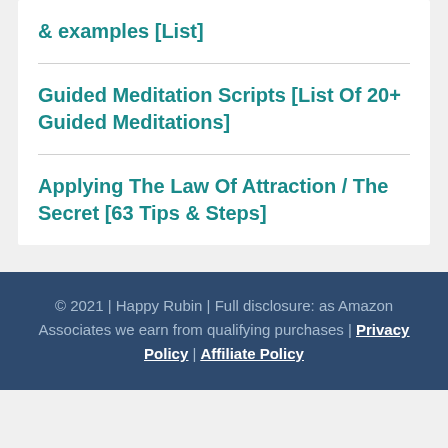& examples [List]
Guided Meditation Scripts [List Of 20+ Guided Meditations]
Applying The Law Of Attraction / The Secret [63 Tips & Steps]
© 2021 | Happy Rubin | Full disclosure: as Amazon Associates we earn from qualifying purchases | Privacy Policy | Affiliate Policy